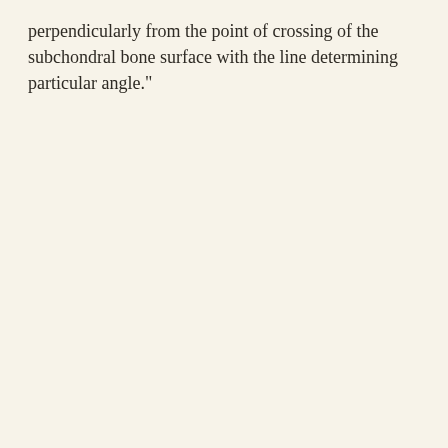perpendicularly from the point of crossing of the subchondral bone surface with the line determining particular angle."